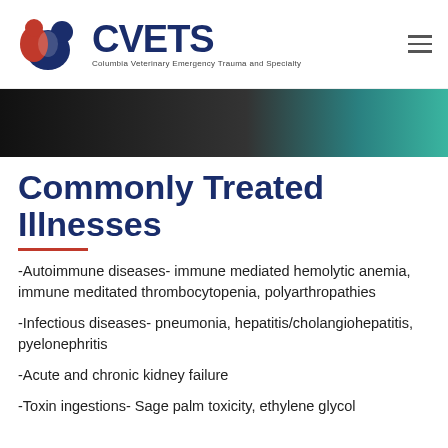[Figure (logo): CVETS logo with red and blue dog/cat silhouette icon and text 'CVETS - Columbia Veterinary Emergency Trauma and Specialty']
[Figure (photo): Dark banner image with black gradient on left and teal/green on right]
Commonly Treated Illnesses
-Autoimmune diseases- immune mediated hemolytic anemia, immune meditated thrombocytopenia, polyarthropathies
-Infectious diseases- pneumonia, hepatitis/cholangiohepatitis, pyelonephritis
-Acute and chronic kidney failure
-Toxin ingestions- Sage palm toxicity, ethylene glycol